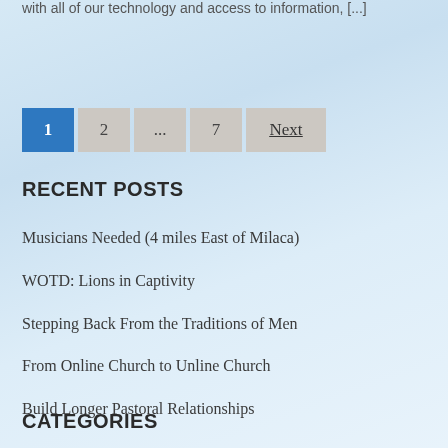with all of our technology and access to information, [...]
Pagination: 1  2  ...  7  Next
RECENT POSTS
Musicians Needed (4 miles East of Milaca)
WOTD: Lions in Captivity
Stepping Back From the Traditions of Men
From Online Church to Unline Church
Build Longer Pastoral Relationships
CATEGORIES